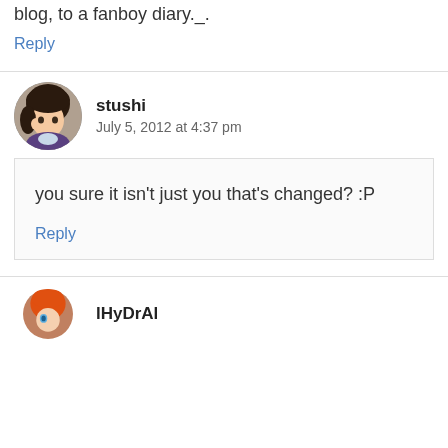blog, to a fanboy diary._.
Reply
stushi
July 5, 2012 at 4:37 pm
you sure it isn't just you that's changed? :P
Reply
lHyDrAl